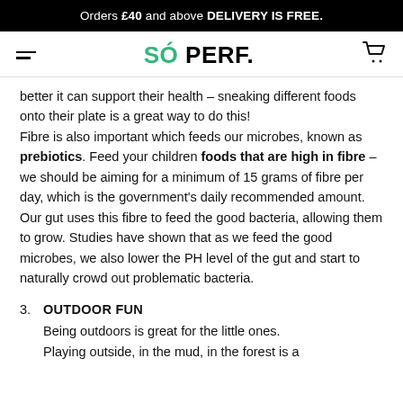Orders £40 and above DELIVERY IS FREE.
SÓ PERF.
better it can support their health – sneaking different foods onto their plate is a great way to do this! Fibre is also important which feeds our microbes, known as prebiotics. Feed your children foods that are high in fibre – we should be aiming for a minimum of 15 grams of fibre per day, which is the government's daily recommended amount. Our gut uses this fibre to feed the good bacteria, allowing them to grow. Studies have shown that as we feed the good microbes, we also lower the PH level of the gut and start to naturally crowd out problematic bacteria.
3. OUTDOOR FUN
Being outdoors is great for the little ones. Playing outside, in the mud, in the forest is a